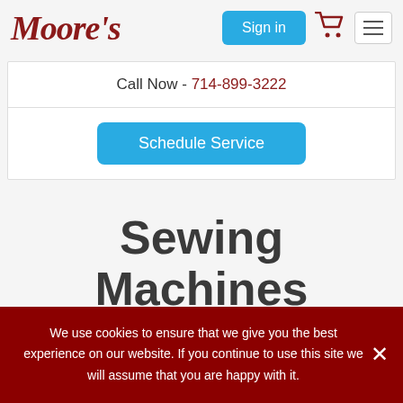[Figure (logo): Moore's script logo in dark red italic]
Sign in
[Figure (other): Shopping cart icon in dark red]
[Figure (other): Hamburger menu button]
Call Now - 714-899-3222
Schedule Service
Sewing Machines
We use cookies to ensure that we give you the best experience on our website. If you continue to use this site we will assume that you are happy with it.